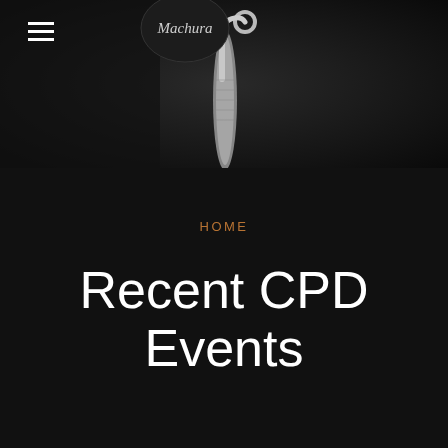[Figure (photo): Dark header background with a dental/medical instrument silhouette in the center against a dark gradient background. A logo circle is visible at the top center.]
HOME
Recent CPD Events